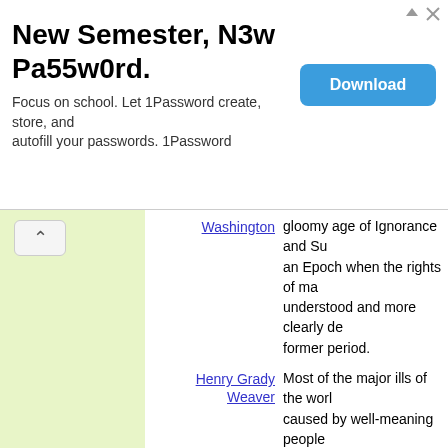[Figure (screenshot): Advertisement banner: '1Password - New Semester, N3w Pa55w0rd.' with Download button]
Washington gloomy age of Ignorance and Su... an Epoch when the rights of ma... understood and more clearly de... former period.
Henry Grady Weaver Most of the major ills of the worl... caused by well-meaning people... principle of individual freedom, e... to themselves, and who were ob... fanatical zeal to improve the lot...
Henry Grady Weaver Most of the major ills of the worl... caused by well-meaning people... principle of individual freedom, e... to themselves, and who were ob... fanatical zeal to improve the lot... mass through some pet formula... harm done by ordinary criminals... gangsters, and thieves is neglig... with the agony inflicted upon hu... the professional do-gooders, wh... themselves up as gods on earth... ruthlessly force their views on al... abiding assurance that the end j... means.